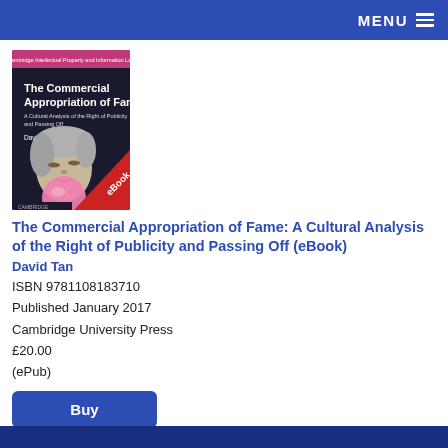MENU
[Figure (photo): Book cover of 'The Commercial Appropriation of Fame' by David Tan, showing a Marilyn Monroe-style figure blowing a pink bubble gum bubble, with a red 'eBook' diagonal banner in the lower right corner. Cambridge Intellectual Property and Information Law series.]
The Commercial Appropriation of Fame: A Cultural Analysis of the Right of Publicity and Passing Off (eBook)
David Tan
ISBN 9781108183710
Published January 2017
Cambridge University Press
£20.00
(ePub)
Buy